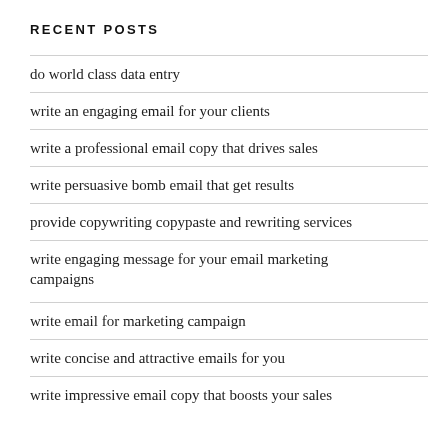RECENT POSTS
do world class data entry
write an engaging email for your clients
write a professional email copy that drives sales
write persuasive bomb email that get results
provide copywriting copypaste and rewriting services
write engaging message for your email marketing campaigns
write email for marketing campaign
write concise and attractive emails for you
write impressive email copy that boosts your sales